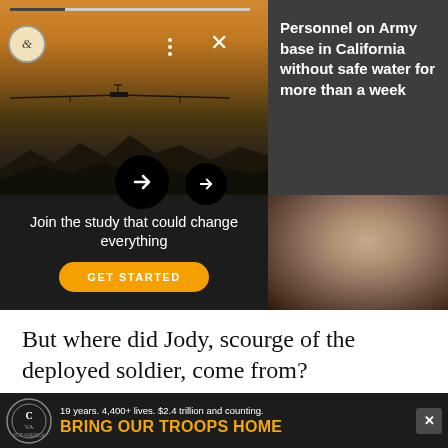[Figure (screenshot): Screenshot of a news/media website showing a drone image carousel on the left, with a dark panel on the right showing the headline 'Personnel on Army base in California without safe water for more than a week'. Navigation arrows and logo visible.]
[Figure (screenshot): Advertisement: 'Join the study that could change everything' with an orange GET STARTED button, alongside a close-up portrait photo of a man's face.]
But where did Jody, scourge of the deployed soldier, come from?
The U.S. military's use of term dates back to roughly 1939 w Africa
[Figure (screenshot): Banner advertisement: '19 years. 4,400+ lives. $2.4 trillion and counting. BRING OUR TROOPS HOME' with Concerned Veterans for America logo.]